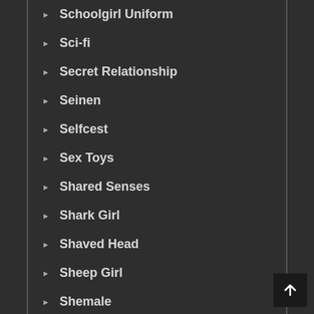Schoolgirl Uniform
Sci-fi
Secret Relationship
Seinen
Selfcest
Sex Toys
Shared Senses
Shark Girl
Shaved Head
Sheep Girl
Shemale
Shibari
Shimapan